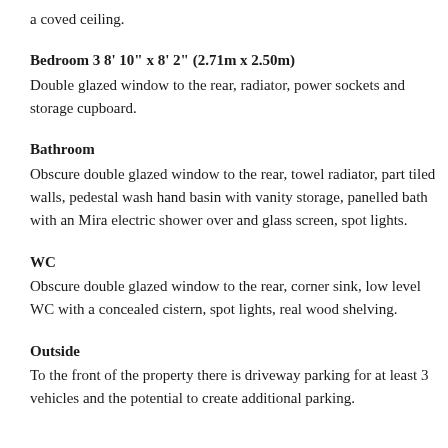a coved ceiling.
Bedroom 3 8' 10" x 8' 2" (2.71m x 2.50m)
Double glazed window to the rear, radiator, power sockets and storage cupboard.
Bathroom
Obscure double glazed window to the rear, towel radiator, part tiled walls, pedestal wash hand basin with vanity storage, panelled bath with an Mira electric shower over and glass screen, spot lights.
WC
Obscure double glazed window to the rear, corner sink, low level WC with a concealed cistern, spot lights, real wood shelving.
Outside
To the front of the property there is driveway parking for at least 3 vehicles and the potential to create additional parking.